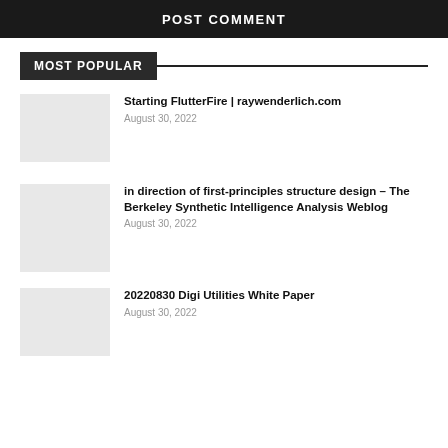POST COMMENT
MOST POPULAR
Starting FlutterFire | raywenderlich.com
August 30, 2022
in direction of first-principles structure design – The Berkeley Synthetic Intelligence Analysis Weblog
August 30, 2022
20220830 Digi Utilities White Paper
August 30, 2022